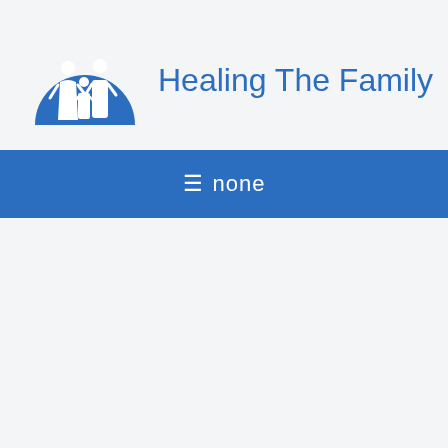[Figure (logo): Healing The Family logo: blue semicircle with white silhouettes of a family (two adults and a child) alongside the text 'Healing The Family' in blue]
☰ none